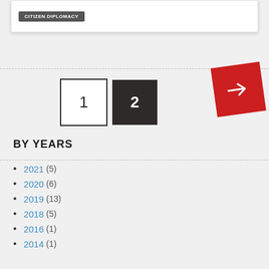[Figure (screenshot): Tag button labeled CITIZEN DIPLOMACY inside a white card at the top]
[Figure (screenshot): Pagination controls showing page 1 (outlined box) and page 2 (dark filled box), plus a red rotated arrow button for next page]
BY YEARS
2021 (5)
2020 (6)
2019 (13)
2018 (5)
2016 (1)
2014 (1)